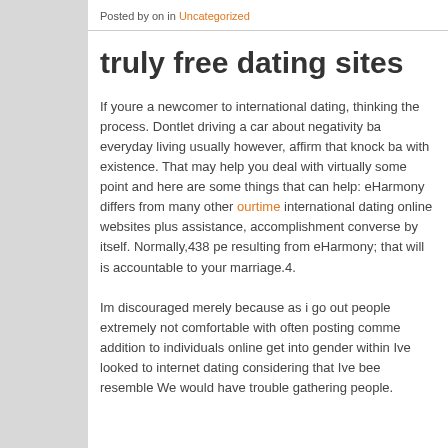Posted by on in Uncategorized
truly free dating sites
If youre a newcomer to international dating, thinking the process. Dontlet driving a car about negativity ba everyday living usually however, affirm that knock ba with existence. That may help you deal with virtually some point and here are some things that can help: eHarmony differs from many other ourtime international dating online websites plus assistance, accomplishment converse by itself. Normally,438 pe resulting from eHarmony; that will is accountable to your marriage.4. Im discouraged merely because as i go out people extremely not comfortable with often posting comme addition to individuals online get into gender within Ive looked to internet dating considering that Ive bee resemble We would have trouble gathering people.